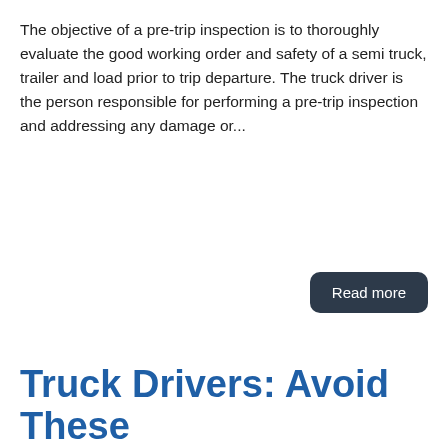The objective of a pre-trip inspection is to thoroughly evaluate the good working order and safety of a semi truck, trailer and load prior to trip departure. The truck driver is the person responsible for performing a pre-trip inspection and addressing any damage or...
Read more
Truck Drivers: Avoid These